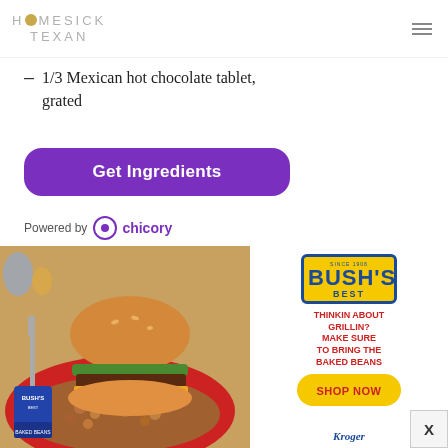HOMESICK TEXAN
1/3 Mexican hot chocolate tablet, grated
[Figure (other): Purple 'Get Ingredients' button with rounded corners]
Powered by chicory
[Figure (photo): Bush's Best baked beans advertisement showing a burger and baked beans on a red plate alongside the Bush's Best brand logo, tagline 'THINKIN ABOUT GRILLIN? MAKE SURE TO BRING THE BAKED BEANS', a yellow 'SHOP NOW' button, and Kroger logo]